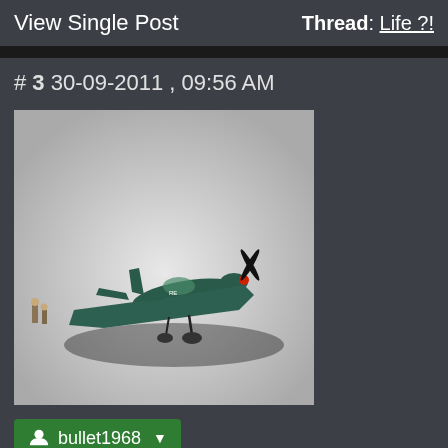View Single Post   Thread: Life ?!
# 3 30-09-2011 , 09:56 AM
[Figure (photo): Photo of a WWII-style model airplane (dark green/teal) on a light gray surface with a cast shadow. Small figures visible at left.]
bullet1968
Lifetime Member
Join Date: Feb 2010
Location: Australia
Posts: 4,255